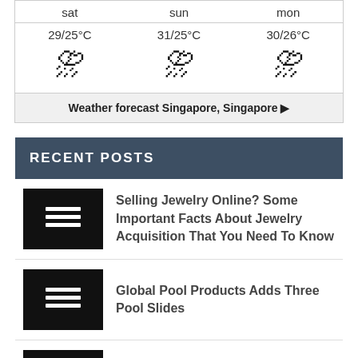| sat | sun | mon |
| --- | --- | --- |
| 29/25°C | 31/25°C | 30/26°C |
| ⛈ | ⛈ | ⛈ |
Weather forecast Singapore, Singapore ▶
RECENT POSTS
Selling Jewelry Online? Some Important Facts About Jewelry Acquisition That You Need To Know
Global Pool Products Adds Three Pool Slides
Pazzo Pastaria Makes Eating Healthier a Tasty Experience